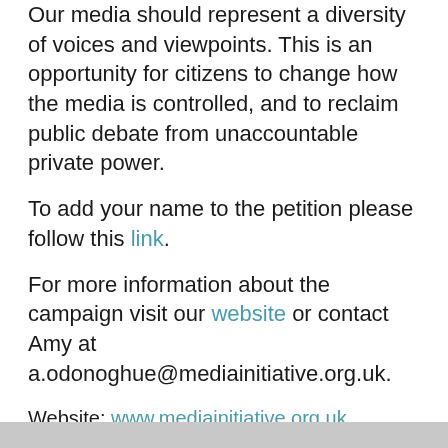Our media should represent a diversity of voices and viewpoints. This is an opportunity for citizens to change how the media is controlled, and to reclaim public debate from unaccountable private power.
To add your name to the petition please follow this link.
For more information about the campaign visit our website or contact Amy at a.odonoghue@mediainitiative.org.uk.
Website: www.mediainitiative.org.uk
Facebook: https://www.facebook.com/CoalitionforMediaPluralism
Twitter: https://twitter.com/Media_Pluralism